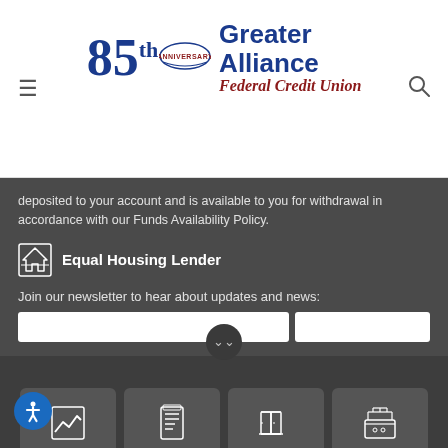[Figure (logo): Greater Alliance Federal Credit Union 85th Anniversary logo with blue and red text]
deposited to your account and is available to you for withdrawal in accordance with our Funds Availability Policy.
Equal Housing Lender
Join our newsletter to hear about updates and news:
[Figure (infographic): Four icon buttons: Rates, Apply, Branch / ATM, Digital Banking]
ABA/Routing Number: 2212-7587-6